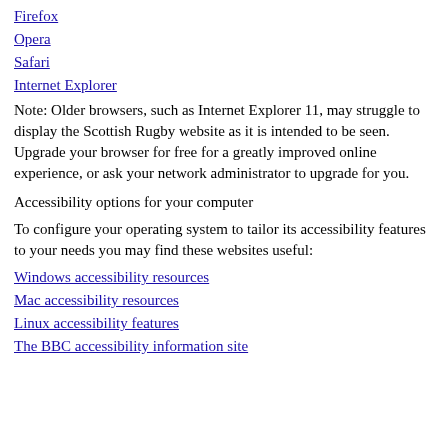Firefox
Opera
Safari
Internet Explorer
Note: Older browsers, such as Internet Explorer 11, may struggle to display the Scottish Rugby website as it is intended to be seen. Upgrade your browser for free for a greatly improved online experience, or ask your network administrator to upgrade for you.
Accessibility options for your computer
To configure your operating system to tailor its accessibility features to your needs you may find these websites useful:
Windows accessibility resources
Mac accessibility resources
Linux accessibility features
The BBC accessibility information site